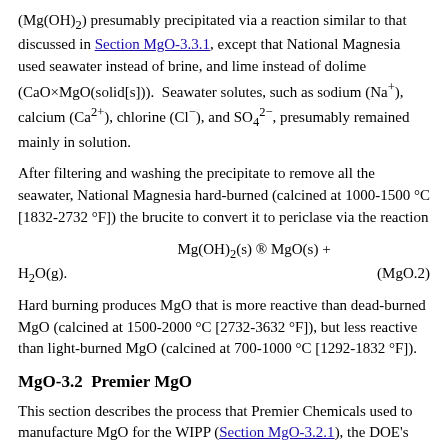(Mg(OH)₂) presumably precipitated via a reaction similar to that discussed in Section MgO-3.3.1, except that National Magnesia used seawater instead of brine, and lime instead of dolime (CaO×MgO(solid[s])). Seawater solutes, such as sodium (Na⁺), calcium (Ca²⁺), chlorine (Cl⁻), and SO₄²⁻, presumably remained mainly in solution.
After filtering and washing the precipitate to remove all the seawater, National Magnesia hard-burned (calcined at 1000-1500 °C [1832-2732 °F]) the brucite to convert it to periclase via the reaction
Hard burning produces MgO that is more reactive than dead-burned MgO (calcined at 1500-2000 °C [2732-3632 °F]), but less reactive than light-burned MgO (calcined at 700-1000 °C [1292-1832 °F]).
MgO-3.2  Premier MgO
This section describes the process that Premier Chemicals used to manufacture MgO for the WIPP (Section MgO-3.2.1), the DOE's